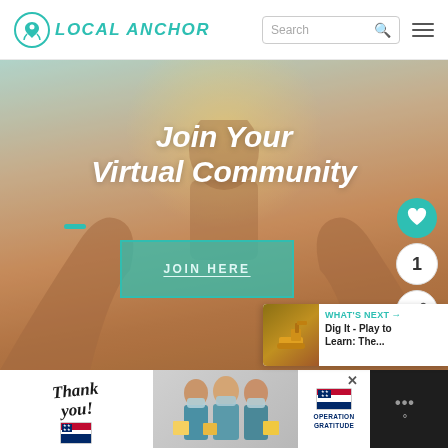LOCAL ANCHOR — Search bar and navigation
[Figure (screenshot): Hero image with person raising arms against warm sky background, teal color overlay elements. Text overlay: 'Join Your Virtual Community' with a teal JOIN HERE button.]
Join Your Virtual Community
JOIN HERE
WHAT'S NEXT → Dig It - Play to Learn: The...
[Figure (screenshot): Ad banner at bottom: Thank you note with flag, nurses/healthcare workers with masks, Operation Gratitude logo]